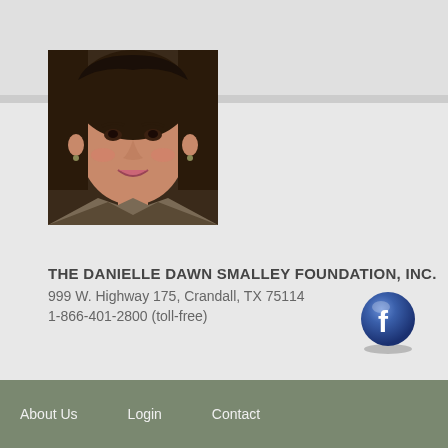[Figure (photo): Portrait photo of a young woman with dark hair, smiling, wearing a plaid or patterned top]
THE DANIELLE DAWN SMALLEY FOUNDATION, INC.
999 W. Highway 175, Crandall, TX 75114
1-866-401-2800 (toll-free)
[Figure (logo): Facebook circular button icon, blue sphere with white 'f' letter]
About Us   Login   Contact